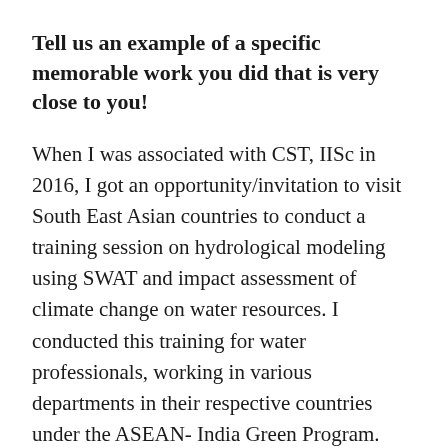Tell us an example of a specific memorable work you did that is very close to you!
When I was associated with CST, IISc in 2016, I got an opportunity/invitation to visit South East Asian countries to conduct a training session on hydrological modeling using SWAT and impact assessment of climate change on water resources. I conducted this training for water professionals, working in various departments in their respective countries under the ASEAN- India Green Program. This visit was memorable and very close to me.
Your advice to students based on your experience?